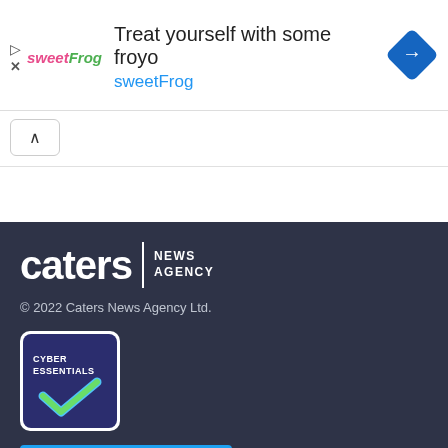[Figure (other): SweetFrog advertisement banner with logo, headline 'Treat yourself with some froyo', brand name 'sweetFrog' in blue, and a blue diamond navigation icon on the right]
[Figure (other): Collapse/hide button with upward caret symbol]
[Figure (logo): Caters News Agency logo — white wordmark 'caters' with vertical divider and 'NEWS AGENCY' text on dark navy background]
© 2022 Caters News Agency Ltd.
[Figure (other): Cyber Essentials certification badge — dark blue square with 'CYBER ESSENTIALS' text and a teal/green checkmark, white rounded square background]
[Figure (other): Twitter Follow @Caters_News button in blue, partially visible]
This website uses cookies to ensure you get the best experience on our website More info
Got it!